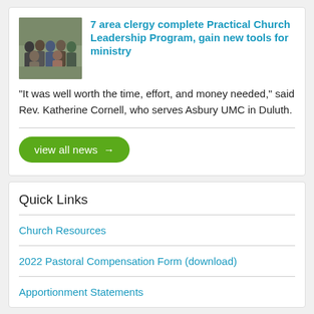[Figure (photo): Group photo of 7 area clergy members standing together outdoors]
7 area clergy complete Practical Church Leadership Program, gain new tools for ministry
“It was well worth the time, effort, and money needed,” said Rev. Katherine Cornell, who serves Asbury UMC in Duluth.
view all news →
Quick Links
Church Resources
2022 Pastoral Compensation Form (download)
Apportionment Statements